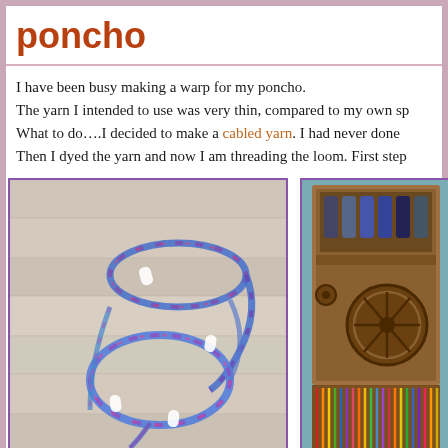poncho
I have been busy making a warp for my poncho. The yarn I intended to use was very thin, compared to my own sp. What to do….I decided to make a cabled yarn. I had never done. Then I dyed the yarn and now I am threading the loom. First step
[Figure (photo): A skein of hand-dyed yarn in shades of blue, purple, and pink, laid on a light wooden surface. The yarn is bundled with white ties.]
[Figure (photo): A wooden loom with bobbins and colorful threads, showing the threading process.]